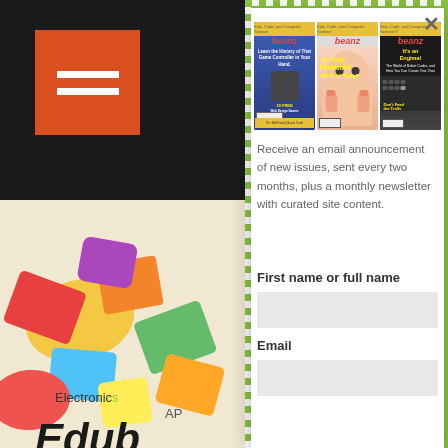[Figure (screenshot): Left sidebar with black top bar, orange hamburger menu button, colorful toy blocks photo]
Electronic
Edub
[Figure (screenshot): Modal popup overlay with three Beanz magazine covers, email signup form with First name or full name and Email fields]
Receive an email announcement of new issues, sent every two months, plus a monthly newsletter with curated site content.
First name or full name
Email
AP